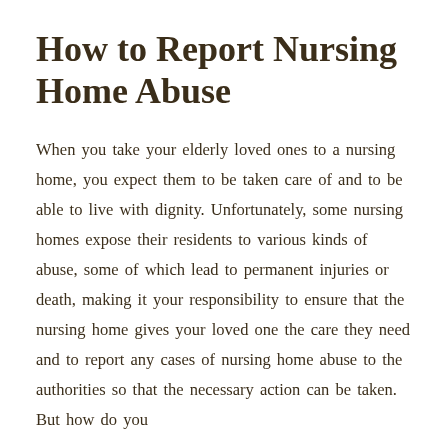How to Report Nursing Home Abuse
When you take your elderly loved ones to a nursing home, you expect them to be taken care of and to be able to live with dignity. Unfortunately, some nursing homes expose their residents to various kinds of abuse, some of which lead to permanent injuries or death, making it your responsibility to ensure that the nursing home gives your loved one the care they need and to report any cases of nursing home abuse to the authorities so that the necessary action can be taken. But how do you